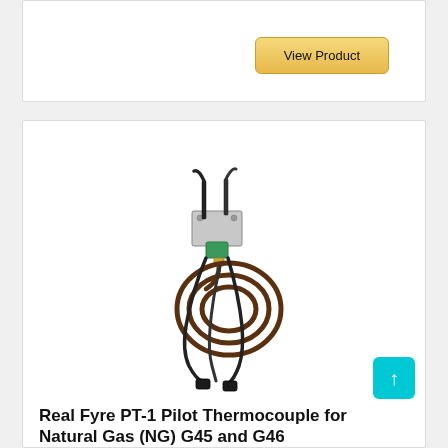View Product
[Figure (photo): Real Fyre PT-1 Pilot Thermocouple assembly for Natural Gas (NG) G45 and G46, showing the metal bracket, coiled copper tubing, green connector, and wiring harness]
Real Fyre PT-1 Pilot Thermocouple for Natural Gas (NG) G45 and G46